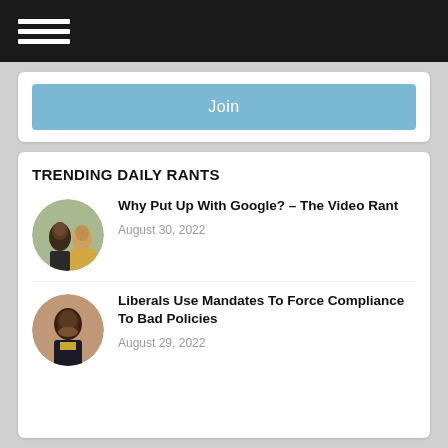Navigation menu
Join
TRENDING DAILY RANTS
Why Put Up With Google? – The Video Rant
August 30, 2022
Liberals Use Mandates To Force Compliance To Bad Policies
August 29, 2022